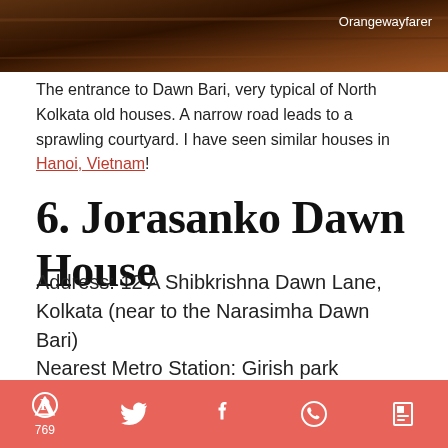[Figure (photo): Top portion of a photo showing entrance to Dawn Bari, with warm brown/wooden tones. Watermark: Orangewayfarer]
The entrance to Dawn Bari, very typical of North Kolkata old houses. A narrow road leads to a sprawling courtyard. I have seen similar houses in Hanoi, Vietnam!
6. Jorasanko Dawn House
Address: 12 A Shibkrishna Dawn Lane, Kolkata (near to the Narasimha Dawn Bari)
Nearest Metro Station: Girish park
Legends have it, Devi Durga comes here to deck up in gold jewellery! Besides gold, they have also got
Pinterest 769 | Twitter | Facebook | WhatsApp | Flipboard